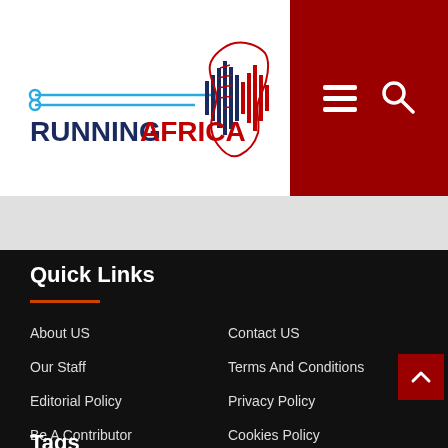[Figure (logo): Running Africa logo with stylized waveform/Africa continent graphic and text RUNNINGAFRICA]
Quick Links
About US
Contact US
Our Staff
Terms And Conditions
Editorial Policy
Privacy Policy
Be A Contributor
Cookies Policy
Tags